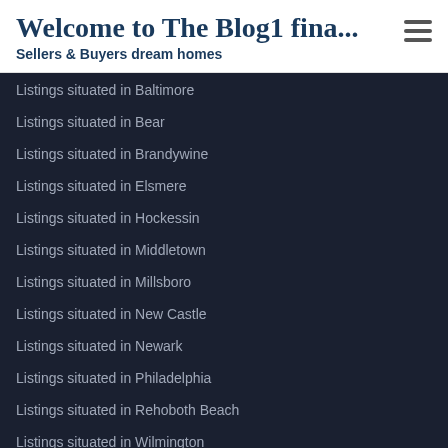Welcome to The Blog1 fina...
Sellers & Buyers dream homes
Listings situated in Baltimore
Listings situated in Bear
Listings situated in Brandywine
Listings situated in Elsmere
Listings situated in Hockessin
Listings situated in Middletown
Listings situated in Millsboro
Listings situated in New Castle
Listings situated in Newark
Listings situated in Philadelphia
Listings situated in Rehoboth Beach
Listings situated in Wilmington
Listings with in Baltimore
Listings with in Brandywine
Listings with in Hockessin
Listings with in Middletown
Listings with in Millsboro (partial)